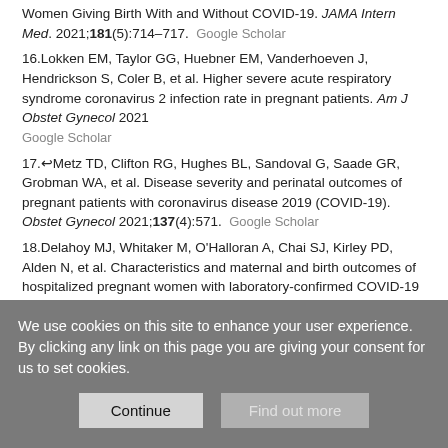Women Giving Birth With and Without COVID-19. JAMA Intern Med. 2021;181(5):714–717.  Google Scholar
16. Lokken EM, Taylor GG, Huebner EM, Vanderhoeven J, Hendrickson S, Coler B, et al. Higher severe acute respiratory syndrome coronavirus 2 infection rate in pregnant patients. Am J Obstet Gynecol 2021  Google Scholar
17. Metz TD, Clifton RG, Hughes BL, Sandoval G, Saade GR, Grobman WA, et al. Disease severity and perinatal outcomes of pregnant patients with coronavirus disease 2019 (COVID-19). Obstet Gynecol 2021;137(4):571.  Google Scholar
18. Delahoy MJ, Whitaker M, O'Halloran A, Chai SJ, Kirley PD, Alden N, et al. Characteristics and maternal and birth outcomes of hospitalized pregnant women with laboratory-confirmed COVID-19—COVID-NET, 13 States, March 1–August 22, 2020. Morb Mortal Wkly Rep
We use cookies on this site to enhance your user experience. By clicking any link on this page you are giving your consent for us to set cookies.